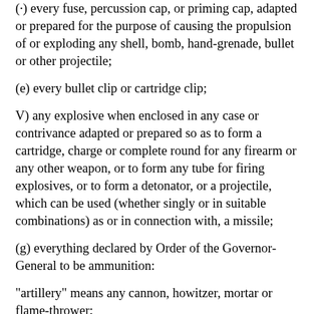(·) every fuse, percussion cap, or priming cap, adapted or prepared for the purpose of causing the propulsion of or exploding any shell, bomb, hand-grenade, bullet or other projectile;
(e) every bullet clip or cartridge clip;
V) any explosive when enclosed in any case or contrivance adapted or prepared so as to form a cartridge, charge or complete round for any firearm or any other weapon, or to form any tube for firing explosives, or to form a detonator, or a projectile, which can be used (whether singly or in suitable combinations) as or in connection with, a missile;
(g) everything declared by Order of the Governor-General to be ammunition:
"artillery" means any cannon, howitzer, mortar or flame-thrower;
" automatic firearm" means any firearm so designed or adapted that if pressure is applied to the trigger missiles continue to be discharged until pressure is removed from the trigger or until the magazine